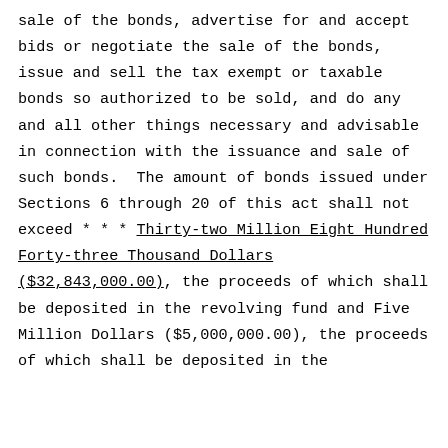sale of the bonds, advertise for and accept bids or negotiate the sale of the bonds, issue and sell the tax exempt or taxable bonds so authorized to be sold, and do any and all other things necessary and advisable in connection with the issuance and sale of such bonds.  The amount of bonds issued under Sections 6 through 20 of this act shall not exceed * * * Thirty-two Million Eight Hundred Forty-three Thousand Dollars ($32,843,000.00), the proceeds of which shall be deposited in the revolving fund and Five Million Dollars ($5,000,000.00), the proceeds of which shall be deposited in the